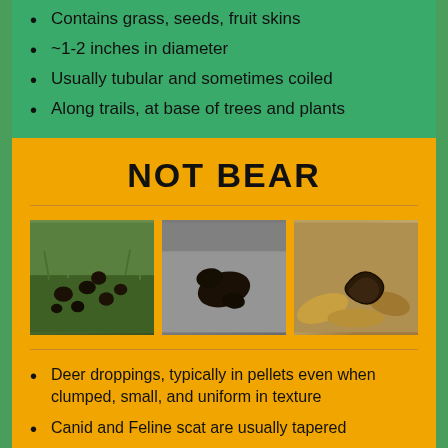Contains grass, seeds, fruit skins
~1-2 inches in diameter
Usually tubular and sometimes coiled
Along trails, at base of trees and plants
NOT BEAR
[Figure (photo): Three photos of non-bear scat: deer droppings (dark pellets on grass), animal track on rock, and coiled scat on leaves]
Deer droppings, typically in pellets even when clumped, small, and uniform in texture
Canid and Feline scat are usually tapered